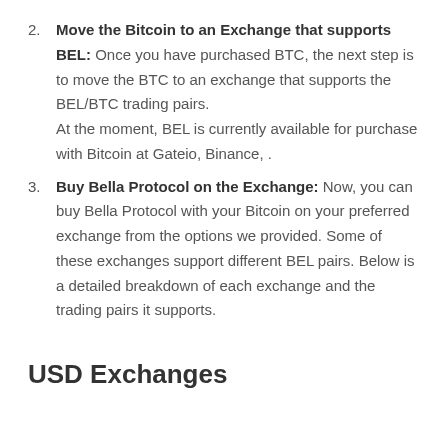Move the Bitcoin to an Exchange that supports BEL: Once you have purchased BTC, the next step is to move the BTC to an exchange that supports the BEL/BTC trading pairs. At the moment, BEL is currently available for purchase with Bitcoin at Gateio, Binance, .
Buy Bella Protocol on the Exchange: Now, you can buy Bella Protocol with your Bitcoin on your preferred exchange from the options we provided. Some of these exchanges support different BEL pairs. Below is a detailed breakdown of each exchange and the trading pairs it supports.
USD Exchanges